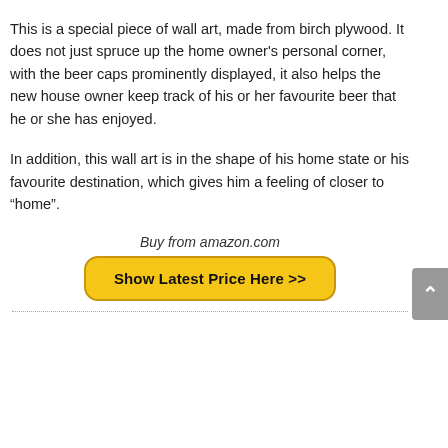This is a special piece of wall art, made from birch plywood. It does not just spruce up the home owner’s personal corner, with the beer caps prominently displayed, it also helps the new house owner keep track of his or her favourite beer that he or she has enjoyed.
In addition, this wall art is in the shape of his home state or his favourite destination, which gives him a feeling of closer to “home”.
Buy from amazon.com
Show Latest Price Here >>